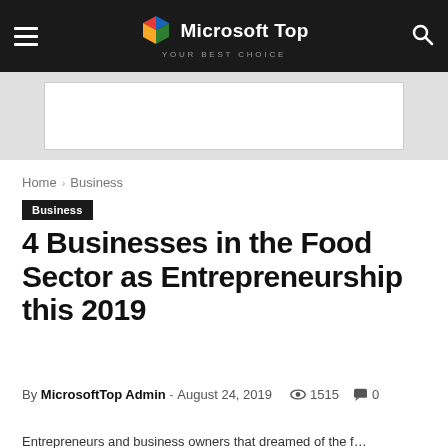Microsoft Top — YOUR BEST CHOICE
[Figure (screenshot): Advertisement banner placeholder (white rectangle on grey background)]
Home › Business
Business
4 Businesses in the Food Sector as Entrepreneurship this 2019
By MicrosoftTop Admin - August 24, 2019   1515   0
Entrepreneurs and business owners that dreamed of the f...